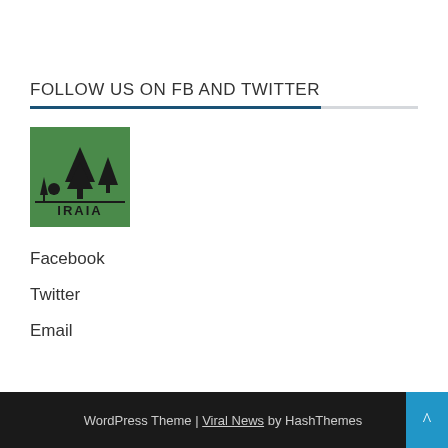FOLLOW US ON FB AND TWITTER
[Figure (logo): IRAIA organization logo: green square background with stylized tree/forest icon and text IRAIA below]
Facebook
Twitter
Email
WordPress Theme | Viral News by HashThemes